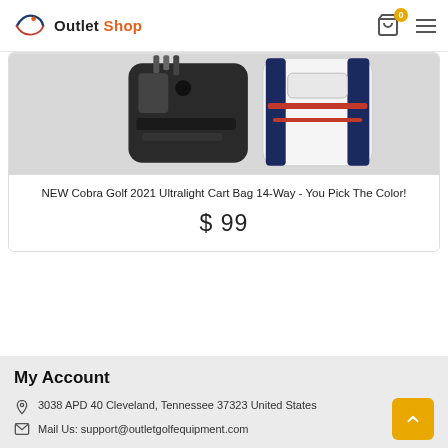Outlet Shop
[Figure (photo): Golf cart bags — black and white/navy/red Cobra bags displayed together]
NEW Cobra Golf 2021 Ultralight Cart Bag 14-Way - You Pick The Color!
$ 99
My Account
3038 APD 40 Cleveland, Tennessee 37323 United States
Mail Us: support@outletgolfequipment.com